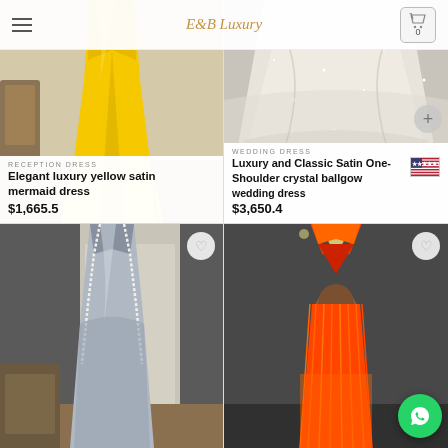E&B Luxury
[Figure (photo): Yellow satin mermaid dress product photo]
RECEPTION DRESS
Elegant luxury yellow satin mermaid dress
$1,665.5
[Figure (photo): White crystal ballgown wedding dress product photo]
WEDDING DRESS
Luxury and Classic Satin One-Shoulder crystal ballgown wedding dress
$3,650.4
[Figure (photo): Silver satin halter dress with pearl embellishment product photo]
[Figure (photo): Orange fringed halter backless dress on mannequin product photo]